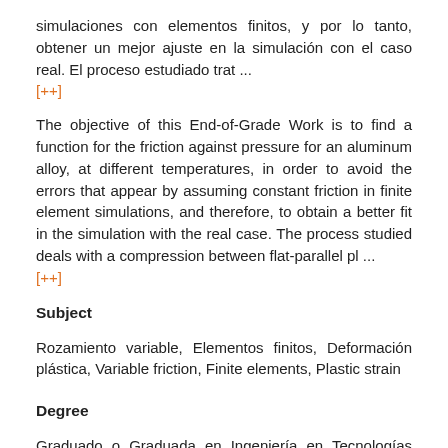simulaciones con elementos finitos, y por lo tanto, obtener un mejor ajuste en la simulación con el caso real. El proceso estudiado trat ...
[++]
The objective of this End-of-Grade Work is to find a function for the friction against pressure for an aluminum alloy, at different temperatures, in order to avoid the errors that appear by assuming constant friction in finite element simulations, and therefore, to obtain a better fit in the simulation with the real case. The process studied deals with a compression between flat-parallel pl ...
[++]
Subject
Rozamiento variable, Elementos finitos, Deformación plástica, Variable friction, Finite elements, Plastic strain
Degree
Graduado o Graduada en Ingeniería en Tecnologías Industriales por la Universidad Pública de Navarra / Industria Teknologietako Ingeniaritza Graduatua, Nafarroako Unibertsitate Publikoa